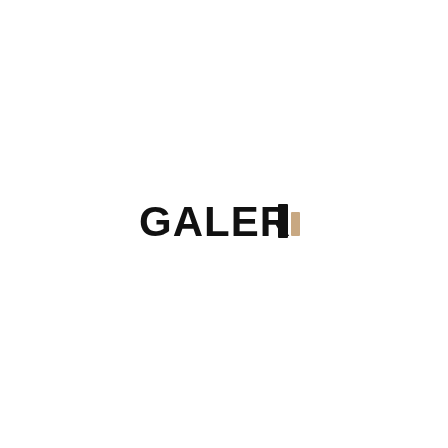[Figure (logo): GALERIA logo in bold black sans-serif uppercase letters. The last letter appears to be a stylized 'A' or partial letter, with a small orange/tan colored shape beside it resembling a bookmark or tag icon.]